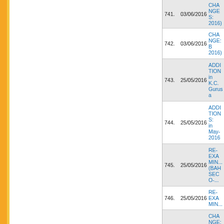| # | Date | Description |
| --- | --- | --- |
| 741. | 03/06/2016 | CHANGES: ... 2016) |
| 742. | 03/06/2016 | CHANGE: B ... 2016) |
| 743. | 25/05/2016 | ADDITION in K.C. Gurusa... |
| 744. | 25/05/2016 | ADDITIONS: ... in May-2016... |
| 745. | 25/05/2016 | RE-EXAMIN... (BAHSECO-... |
| 746. | 25/05/2016 | RE-EXAMIN... |
| 747. | 24/05/2016 | CHANGE: B ... (May-2016) |
| 748. | 24/05/2016 | ADDITIONS: ... Exam. (May-... |
| 749. | 24/05/2016 | CHANGE: C ... 2016) |
| 750. | 24/05/2016 | CHANGES i ... and Regular... |
| 751. | 20/05/2016 | ADDITION: ... (May-2016) |